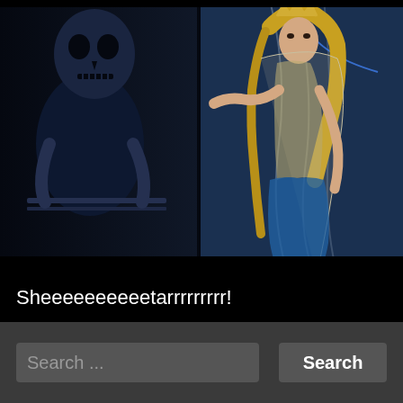[Figure (photo): Two-panel dark theatrical/fantasy scene. Left panel: a skeletal/monster figure in dark blue tones seated near a railing. Right panel: a woman in elaborate fantasy costume with golden hair, crown, sheer robes and blue skirt, pointing dramatically on a theatrical stage with blue lighting.]
Sheeeeeeeeeetarrrrrrrrr!
Search ...
Search